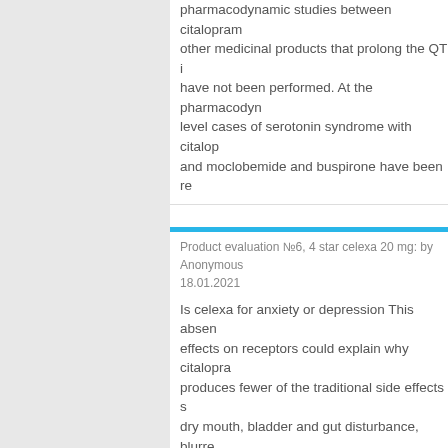pharmacodynamic studies between citalopram and other medicinal products that prolong the QT i have not been performed. At the pharmacodyr level cases of serotonin syndrome with citalop and moclobemide and buspirone have been re
Product evaluation №6, 4 star celexa 20 mg: by Anonymous 18.01.2021
Is celexa for anxiety or depression This absence effects on receptors could explain why citalopram produces fewer of the traditional side effects such as dry mouth, bladder and gut disturbance, blurred vision, sedation, cardiotoxicity and orthostatic hypotension. In contrast to many tricyclic antidepressants and some of the newer SSRIs, citalopram has no or very low affinity for a series of receptors including 5-HT 1A, 5-HT2, DA D1 and receptors, 1- 2- -adrenoceptors, histamine H1, muscarine, cholinergic, benzodiazepine, and other receptors.